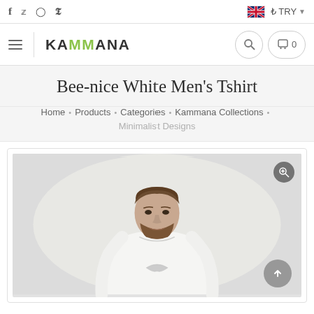Social icons: f, Twitter, Instagram, Pinterest | UK Flag | ₺ TRY
KAMMANA logo | Search | Cart 0
Bee-nice White Men's Tshirt
Home · Products · Categories · Kammana Collections · Minimalist Designs
[Figure (photo): Product photo of a male model wearing a white t-shirt with minimalist design, shown from waist up, with dark brown hair and beard, light gray background. Zoom icon at top right, scroll-up button at bottom right.]